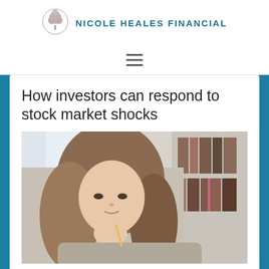[Figure (logo): Nicole Heales Financial logo with tree emblem]
NICOLE HEALES FINANCIAL
[Figure (other): Hamburger navigation menu icon]
How investors can respond to stock market shocks
[Figure (photo): Young woman with long brown hair sitting at desk, looking thoughtful, hand near chin, bookshelves in background]